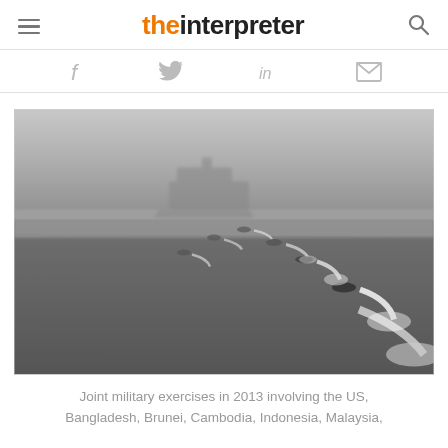the interpreter
[Figure (photo): Aerial view of joint military naval exercise in 2013 showing small military boats leaving white wakes in a diagonal line across grey ocean water, with a large warship visible in the misty background]
Joint military exercises in 2013 involving the US, Bangladesh, Brunei, Cambodia, Indonesia, Malaysia,